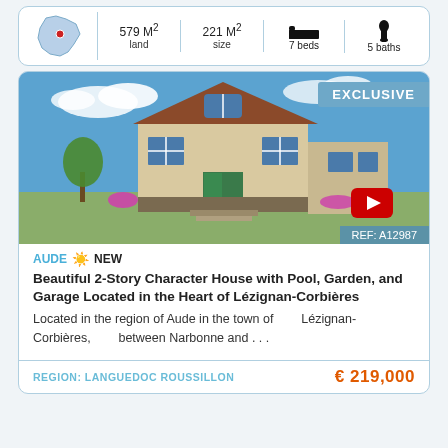| Map | Land | Size | Beds | Baths |
| --- | --- | --- | --- | --- |
| France map | 579 M² land | 221 M² size | 7 beds | 5 baths |
[Figure (photo): 2-story character house with pool and garden in Lézignan-Corbières, with EXCLUSIVE badge and YouTube play button overlay. REF: A12987.]
AUDE ☀ NEW
Beautiful 2-Story Character House with Pool, Garden, and Garage Located in the Heart of Lézignan-Corbières
Located in the region of Aude in the town of Lézignan-Corbières, between Narbonne and . . .
REGION: LANGUEDOC ROUSSILLON   € 219,000